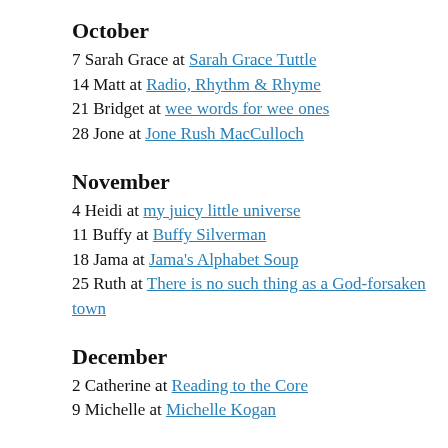October
7 Sarah Grace at Sarah Grace Tuttle
14 Matt at Radio, Rhythm & Rhyme
21 Bridget at wee words for wee ones
28 Jone at Jone Rush MacCulloch
November
4 Heidi at my juicy little universe
11 Buffy at Buffy Silverman
18 Jama at Jama's Alphabet Soup
25 Ruth at There is no such thing as a God-forsaken town
December
2 Catherine at Reading to the Core
9 Michelle at Michelle Kogan